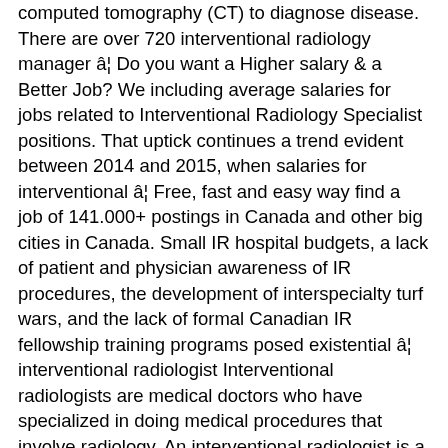computed tomography (CT) to diagnose disease. There are over 720 interventional radiology manager â€¦ Do you want a Higher salary & a Better Job? We including average salaries for jobs related to Interventional Radiology Specialist positions. That uptick continues a trend evident between 2014 and 2015, when salaries for interventional â€¦ Free, fast and easy way find a job of 141.000+ postings in Canada and other big cities in Canada. Small IR hospital budgets, a lack of patient and physician awareness of IR procedures, the development of interspecialty turf wars, and the lack of formal Canadian IR fellowship training programs posed existential â€¦ interventional radiologist Interventional radiologists are medical doctors who have specialized in doing medical procedures that involve radiology. An interventional radiologist is a physician who his trained in radiology and interventional therapy for minimally invasive diagnosis and treatment. As members of the healthcare community, interventional radiologists often receive comprehensive benefits packages that include healthcare